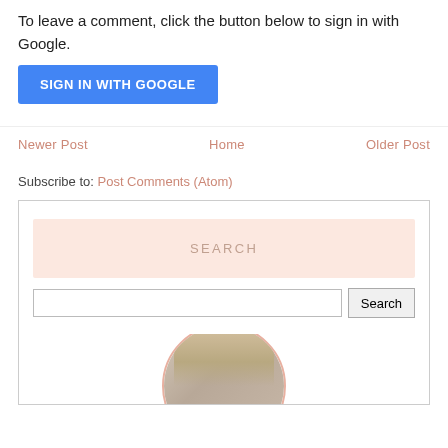To leave a comment, click the button below to sign in with Google.
[Figure (screenshot): Blue 'SIGN IN WITH GOOGLE' button]
Newer Post    Home    Older Post
Subscribe to: Post Comments (Atom)
[Figure (screenshot): Sidebar search widget with SEARCH label bar, text input, and Search button, plus partial profile photo below]